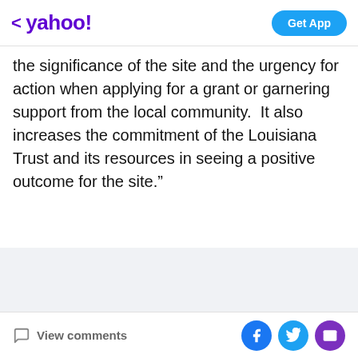yahoo! | Get App
the significance of the site and the urgency for action when applying for a grant or garnering support from the local community.  It also increases the commitment of the Louisiana Trust and its resources in seeing a positive outcome for the site.”
[Figure (other): Advertisement placeholder area with light gray background]
View comments | Facebook share | Twitter share | Email share